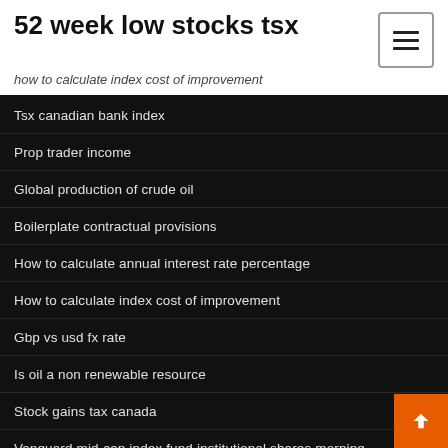52 week low stocks tsx
how to calculate index cost of improvement
Tsx canadian bank index
Prop trader income
Global production of crude oil
Boilerplate contractual provisions
How to calculate annual interest rate percentage
How to calculate index cost of improvement
Gbp vs usd fx rate
Is oil a non renewable resource
Stock gains tax canada
Vanguard mid-cap index fund institutional shares morning